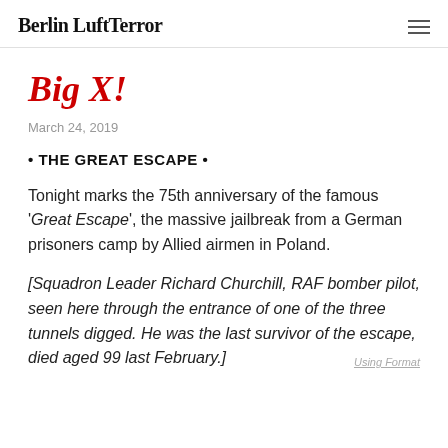Berlin LuftTerror
Big X!
March 24, 2019
• THE GREAT ESCAPE •
Tonight marks the 75th anniversary of the famous 'Great Escape', the massive jailbreak from a German prisoners camp by Allied airmen in Poland.
[Squadron Leader Richard Churchill, RAF bomber pilot, seen here through the entrance of one of the three tunnels digged. He was the last survivor of the escape, died aged 99 last February.]